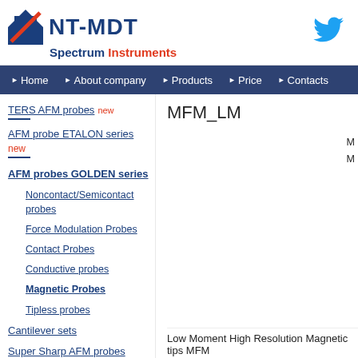[Figure (logo): NT-MDT Spectrum Instruments logo with blue square icon and red/blue text]
[Figure (logo): Twitter bird icon in blue]
Home | About company | Products | Price | Contacts
MFM_LM
TERS AFM probes new
AFM probe ETALON series new
AFM probes GOLDEN series
Noncontact/Semicontact probes
Force Modulation Probes
Contact Probes
Conductive probes
Magnetic Probes
Tipless probes
Cantilever sets
Super Sharp AFM probes new
Low Moment High Resolution Magnetic tips MFM